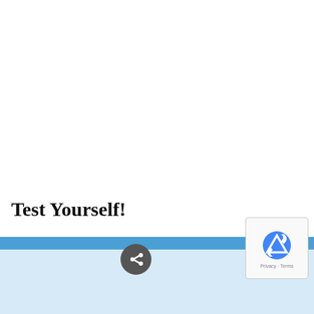Test Yourself!
Test how well you understand the difference between assent and consent with the following